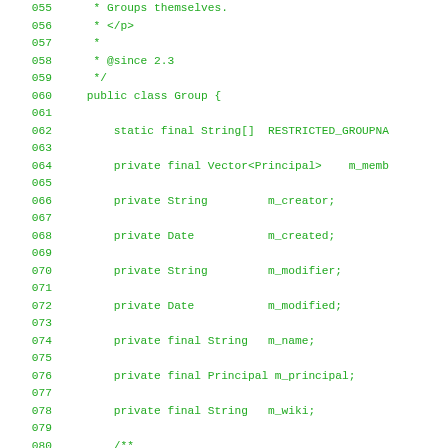[Figure (screenshot): Source code listing showing Java class definition for Group class, with line numbers 055-083 displayed in green monospace font on white background. Lines include comments (* Groups themselves., * </p>, *, * @since 2.3, */), class declaration (public class Group {), field declarations (static final String[] RESTRICTED_GROUPN..., private final Vector<Principal> m_memb..., private String m_creator;, private Date m_created;, private String m_modifier;, private Date m_modified;, private final String m_name;, private final Principal m_principal;, private final String m_wiki;), and start of Javadoc comment (/** , * Protected constructor to prevent dire..., * package members. Callers should use, * [@link GroupManager#parseGroup(String...]